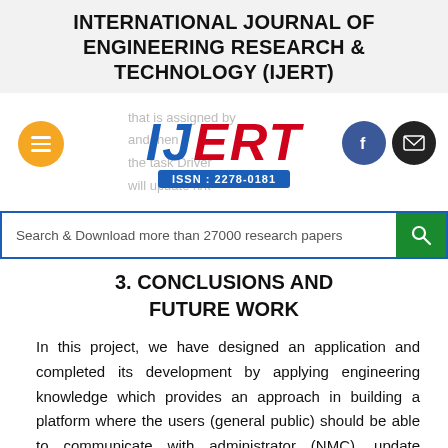INTERNATIONAL JOURNAL OF ENGINEERING RESEARCH & TECHNOLOGY (IJERT)
[Figure (logo): IJERT logo with blue IJERT letters, red ERT, and ISSN: 2278-0181 bar, flanked by orange hamburger button, Facebook button, and email button. Faded background text about task Driver and update.]
[Figure (screenshot): Search bar with text 'Search & Download more than 27000 research papers' and green search button]
3. CONCLUSIONS AND FUTURE WORK
In this project, we have designed an application and completed its development by applying engineering knowledge which provides an approach in building a platform where the users (general public) should be able to communicate with administrator (NMC), update information of worker. Communication is possible among the